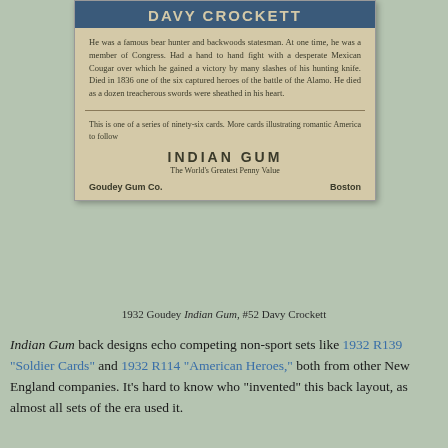[Figure (photo): Back of a 1932 Goudey Indian Gum trading card #52 Davy Crockett. Tan/beige card with blue title 'DAVY CROCKETT' at top, body text about Crockett's life, a horizontal rule, series text, 'INDIAN GUM' brand name, 'The World's Greatest Penny Value' tagline, and 'Goudey Gum Co. Boston' footer.]
1932 Goudey Indian Gum, #52 Davy Crockett
Indian Gum back designs echo competing non-sport sets like 1932 R139 "Soldier Cards" and 1932 R114 "American Heroes," both from other New England companies. It's hard to know who "invented" this back layout, as almost all sets of the era used it.